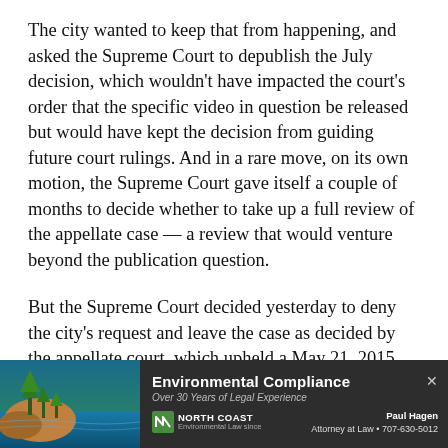The city wanted to keep that from happening, and asked the Supreme Court to depublish the July decision, which wouldn't have impacted the court's order that the specific video in question be released but would have kept the decision from guiding future court rulings. And in a rare move, on its own motion, the Supreme Court gave itself a couple of months to decide whether to take up a full review of the appellate case — a review that would venture beyond the publication question.
But the Supreme Court decided yesterday to deny the city's request and leave the case as decided by the appellate court, which upheld a May 21, 2015, ruling by Humboldt County Superior Court Judge Christopher Wil... [text continues below cut]
[Figure (infographic): Advertisement banner for North Coast Environmental Compliance law firm. Shows a coastal landscape image on the left, with the text 'Environmental Compliance', 'Over 30 Years of Legal Experience', a North Coast logo, and contact info for Paul Hagen, Attorney at Law, 707-630-5012.]